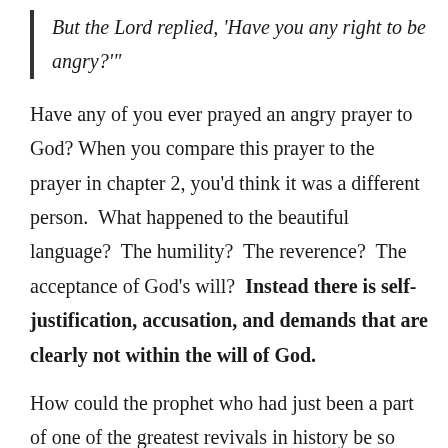But the Lord replied, 'Have you any right to be angry?'"
Have any of you ever prayed an angry prayer to God? When you compare this prayer to the prayer in chapter 2, you'd think it was a different person.  What happened to the beautiful language?  The humility?  The reverence?  The acceptance of God's will?  Instead there is self-justification, accusation, and demands that are clearly not within the will of God.
How could the prophet who had just been a part of one of the greatest revivals in history be so disappointed that he would rather die than live?  How could Jonah fail to be happy?  How many of us today try to justify